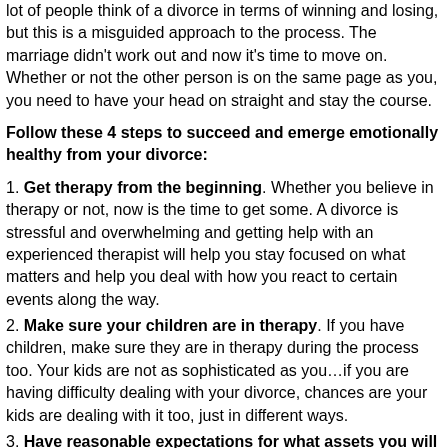lot of people think of a divorce in terms of winning and losing, but this is a misguided approach to the process. The marriage didn't work out and now it's time to move on. Whether or not the other person is on the same page as you, you need to have your head on straight and stay the course.
Follow these 4 steps to succeed and emerge emotionally healthy from your divorce:
1. Get therapy from the beginning. Whether you believe in therapy or not, now is the time to get some. A divorce is stressful and overwhelming and getting help with an experienced therapist will help you stay focused on what matters and help you deal with how you react to certain events along the way.
2. Make sure your children are in therapy. If you have children, make sure they are in therapy during the process too. Your kids are not as sophisticated as you…if you are having difficulty dealing with your divorce, chances are your kids are dealing with it too, just in different ways.
3. Have reasonable expectations for what assets you will receive.